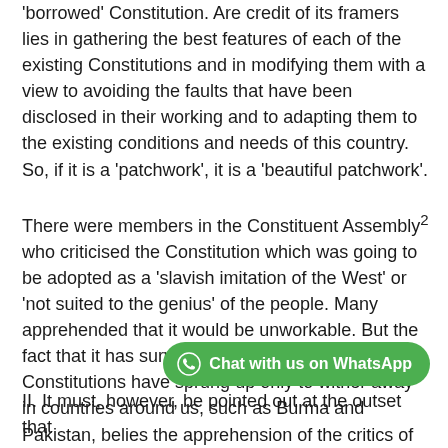'borrowed' Constitution. Are credit of its framers lies in gathering the best features of each of the existing Constitutions and in modifying them with a view to avoiding the faults that have been disclosed in their working and to adapting them to the existing conditions and needs of this country. So, if it is a 'patchwork', it is a 'beautiful patchwork'.
There were members in the Constituent Assembly2 who criticised the Constitution which was going to be adopted as a 'slavish imitation of the West' or 'not suited to the genius' of the people. Many apprehended that it would be unworkable. But the fact that it has survived for about sixty years, while Constitutions have sprung up only to wither away in countries around us, such as Burma and Pakistan, belies the apprehension of the critics of the Indian Constitution.
[Figure (other): WhatsApp chat button - green rounded button with WhatsApp icon and text 'Chat with us on WhatsApp']
II. It must, however, be pointed out at the outset that